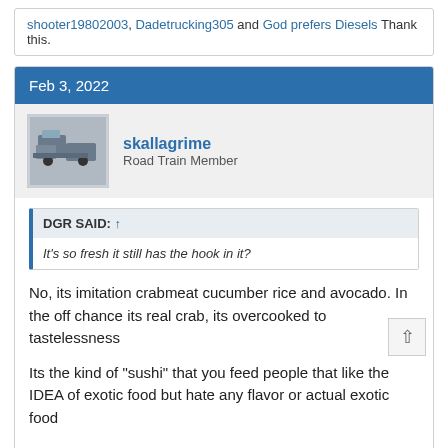shooter19802003, Dadetrucking305 and God prefers Diesels Thank this.
Feb 3, 2022
skallagrime
Road Train Member
DGR SAID: ↑
It's so fresh it still has the hook in it?
No, its imitation crabmeat cucumber rice and avocado. In the off chance its real crab, its overcooked to tastelessness

Its the kind of "sushi" that you feed people that like the IDEA of exotic food but hate any flavor or actual exotic food